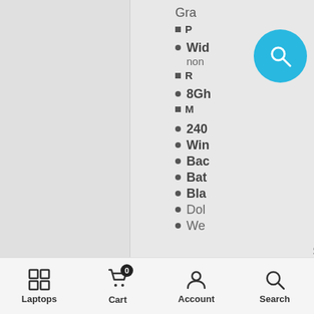Gra
■ [truncated]
• Wid non
■ [truncated]
• 8Gh
■ [truncated]
• 240
• Win
• Bac
• Bat
• Bla
• Dol
• We
System
Laptops | Cart 0 | Account | Search